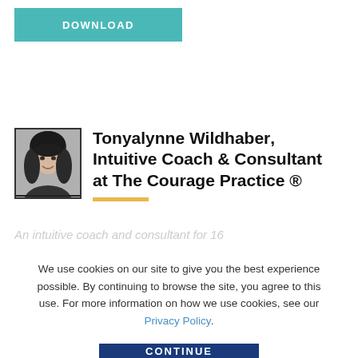[Figure (other): Download button — teal/turquoise rectangle with white bold text 'DOWNLOAD']
[Figure (photo): Black and white headshot photo of Tonyalynne Wildhaber, a woman with dark hair, smiling]
Tonyalynne Wildhaber, Intuitive Coach & Consultant at The Courage Practice ®
An intuitive coach and consultant for 16
We use cookies on our site to give you the best experience possible. By continuing to browse the site, you agree to this use. For more information on how we use cookies, see our Privacy Policy.
[Figure (other): Continue button — dark navy blue rectangle with white bold text 'CONTINUE']